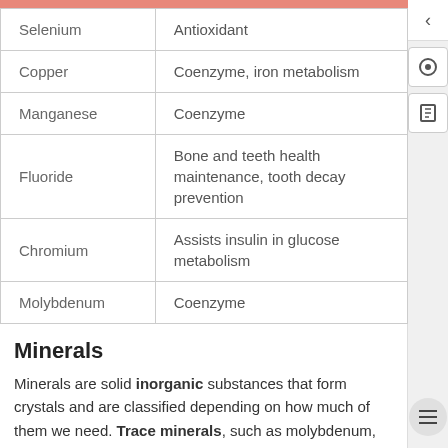| Mineral | Function |
| --- | --- |
| Selenium | Antioxidant |
| Copper | Coenzyme, iron metabolism |
| Manganese | Coenzyme |
| Fluoride | Bone and teeth health maintenance, tooth decay prevention |
| Chromium | Assists insulin in glucose metabolism |
| Molybdenum | Coenzyme |
Minerals
Minerals are solid inorganic substances that form crystals and are classified depending on how much of them we need. Trace minerals, such as molybdenum, selenium, zinc, iron, and iodine, are